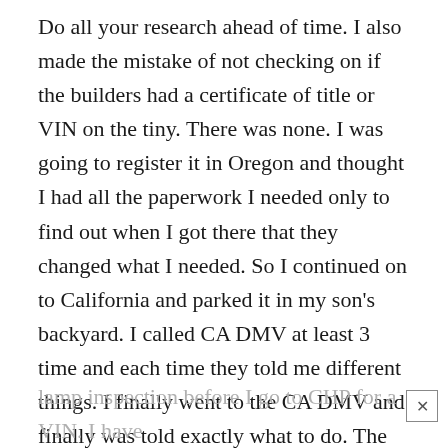Do all your research ahead of time. I also made the mistake of not checking on if the builders had a certificate of title or VIN on the tiny. There was none. I was going to register it in Oregon and thought I had all the paperwork I needed only to find out when I got there that they changed what I needed. So I continued on to California and parked it in my son's backyard. I called CA DMV at least 3 time and each time they told me different things. I finally went to the CA DMV and finally was told exactly what to do. The DMV calls the Tiny a Coach Trailer because it is liveable unlike the travel trailer which is temporary living. Since I bought it in Oregon. to register it in CA I have to get a brake &
lamp inspection before I go to CHP for a VIN. I have